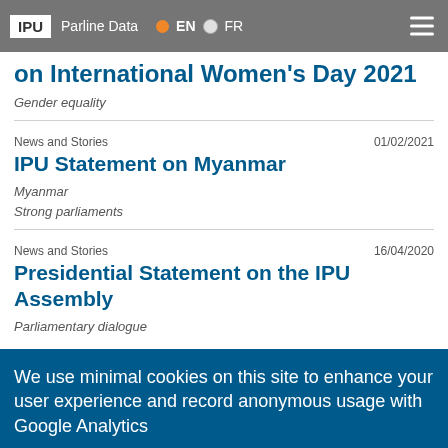IPU  Parline Data  EN  FR
on International Women's Day 2021
Gender equality
News and Stories  01/02/2021
IPU Statement on Myanmar
Myanmar
Strong parliaments
News and Stories  16/04/2020
Presidential Statement on the IPU Assembly
Parliamentary dialogue
We use minimal cookies on this site to enhance your user experience and record anonymous usage with Google Analytics